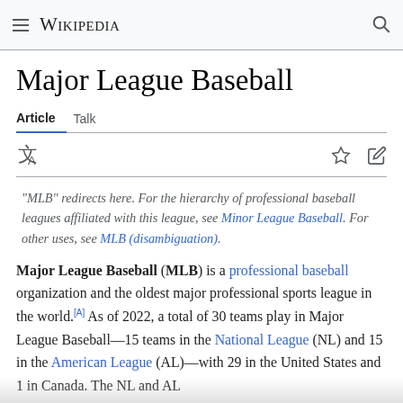Wikipedia
Major League Baseball
Article  Talk
"MLB" redirects here. For the hierarchy of professional baseball leagues affiliated with this league, see Minor League Baseball. For other uses, see MLB (disambiguation).
Major League Baseball (MLB) is a professional baseball organization and the oldest major professional sports league in the world.[A] As of 2022, a total of 30 teams play in Major League Baseball—15 teams in the National League (NL) and 15 in the American League (AL)—with 29 in the United States and 1 in Canada. The NL and AL